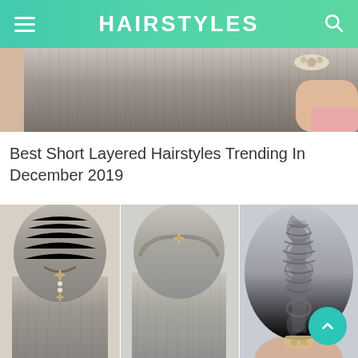HAIRSTYLES
[Figure (photo): Top portion of a woman's hair with straight long dark hair, a decorative clip visible at the right side]
Best Short Layered Hairstyles Trending In December 2019
[Figure (photo): Three-panel collage of hairstyles: left panel shows half-up style with starfish clip and pearl beads, center panel shows braided crown with starfish clip and long straight hair, right panel shows a French braid from behind]